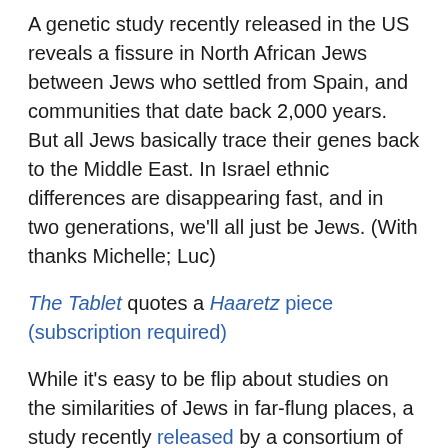A genetic study recently released in the US reveals a fissure in North African Jews between Jews who settled from Spain, and communities that date back 2,000 years. But all Jews basically trace their genes back to the Middle East. In Israel ethnic differences are disappearing fast, and in two generations, we'll all just be Jews. (With thanks Michelle; Luc)
The Tablet quotes a Haaretz piece (subscription required)
While it's easy to be flip about studies on the similarities of Jews in far-flung places, a study recently released by a consortium of colleges